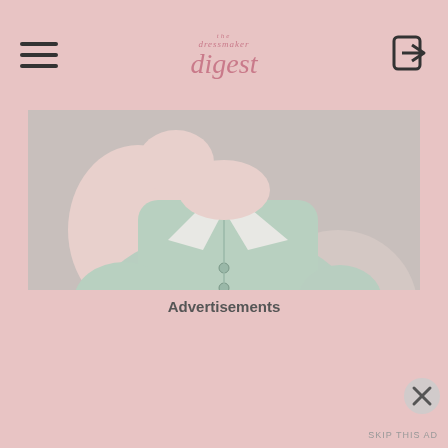the dressmaker digest
[Figure (photo): A person wearing a mint green vintage-style dress with a sailor collar and buttons down the front, sitting with hands near face, wearing medical patches on arms]
Lastly but certainly not least, this mint Grace
Advertisements
SKIP THIS AD